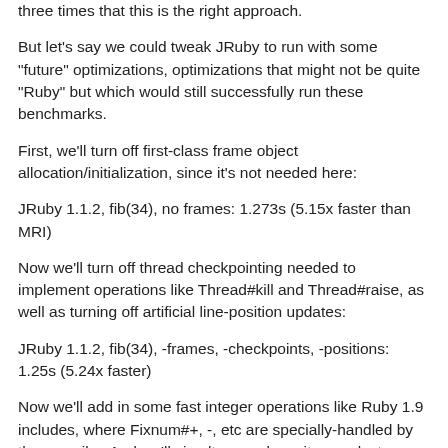three times that this is the right approach.
But let's say we could tweak JRuby to run with some "future" optimizations, optimizations that might not be quite "Ruby" but which would still successfully run these benchmarks.
First, we'll turn off first-class frame object allocation/initialization, since it's not needed here:
JRuby 1.1.2, fib(34), no frames: 1.273s (5.15x faster than MRI)
Now we'll turn off thread checkpointing needed to implement operations like Thread#kill and Thread#raise, as well as turning off artificial line-position updates:
JRuby 1.1.2, fib(34), -frames, -checkpoints, -positions: 1.25s (5.24x faster)
Now we'll add in some fast integer operations like Ruby 1.9 includes, where Fixnum#+, -, etc are specially-handled by the compiler. And we'll simultaneously omit some last framing overhead that's still around to handle backtrace